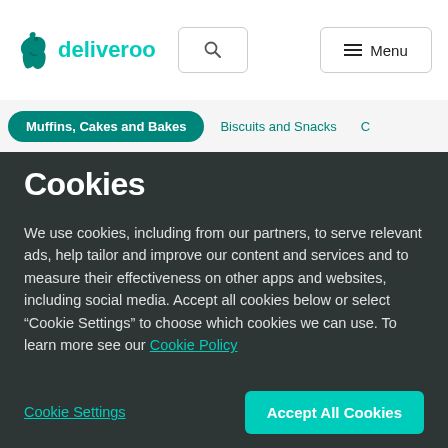[Figure (screenshot): Deliveroo website navigation bar with logo, search icon, and menu button]
Muffins, Cakes and Bakes  Biscuits and Snacks  C
Cookies
We use cookies, including from our partners, to serve relevant ads, help tailor and improve our content and services and to measure their effectiveness on other apps and websites, including social media. Accept all cookies below or select “Cookie Settings” to choose which cookies we can use. To learn more see our Cookie Policy
Cookie Settings
Accept All Cookies